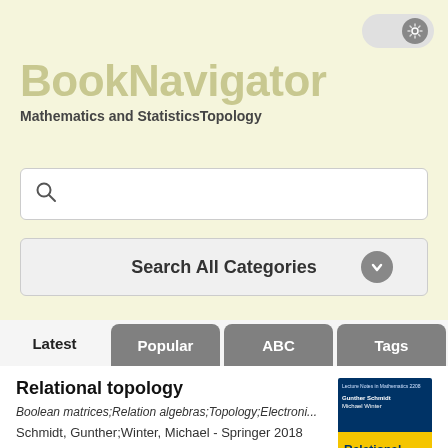[Figure (screenshot): Settings toggle button in top right corner]
BookNavigator
Mathematics and StatisticsTopology
[Figure (screenshot): Search input bar with magnifying glass icon]
Search All Categories
Latest | Popular | ABC | Tags
Relational topology
Boolean matrices;Relation algebras;Topology;Electroni...
Schmidt, Gunther;Winter, Michael - Springer 2018
[Figure (illustration): Book cover for Relational Topology - blue and yellow springer cover]